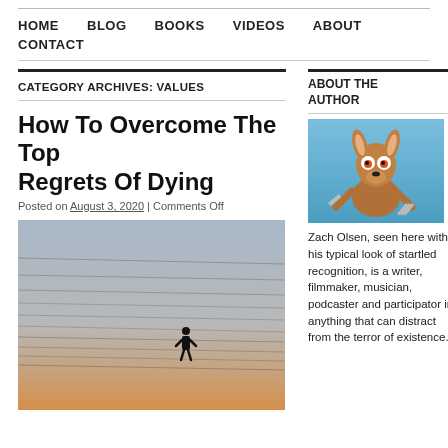HOME | BLOG | BOOKS | VIDEOS | ABOUT | CONTACT
CATEGORY ARCHIVES: VALUES
How To Overcome The Top Regrets Of Dying
Posted on August 3, 2020 | Comments Off
[Figure (photo): A person suspended from power lines against a hazy sky at dusk]
ABOUT THE AUTHOR
[Figure (illustration): Wile E. Coyote cartoon character holding a knife and fork with a startled expression, on a blue background]
Zach Olsen, seen here with his typical look of startled recognition, is a writer, filmmaker, musician, podcaster and participator in anything that can distract from the terror of existence.